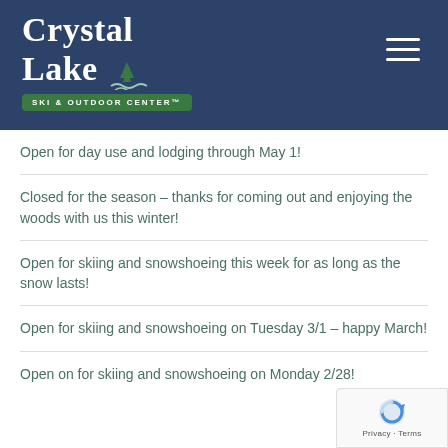[Figure (logo): Crystal Lake Ski & Outdoor Center logo on dark navy background with hamburger menu icon]
Open for day use and lodging through May 1!
Closed for the season – thanks for coming out and enjoying the woods with us this winter!
Open for skiing and snowshoeing this week for as long as the snow lasts!
Open for skiing and snowshoeing on Tuesday 3/1 – happy March!
Open on for skiing and snowshoeing on Monday 2/28!